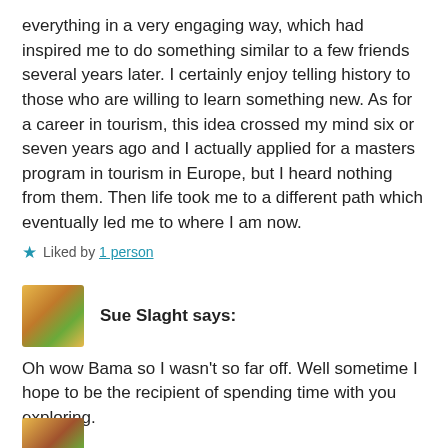everything in a very engaging way, which had inspired me to do something similar to a few friends several years later. I certainly enjoy telling history to those who are willing to learn something new. As for a career in tourism, this idea crossed my mind six or seven years ago and I actually applied for a masters program in tourism in Europe, but I heard nothing from them. Then life took me to a different path which eventually led me to where I am now.
★ Liked by 1 person
Sue Slaght says:
Oh wow Bama so I wasn't so far off. Well sometime I hope to be the recipient of spending time with you exploring.
★ Like